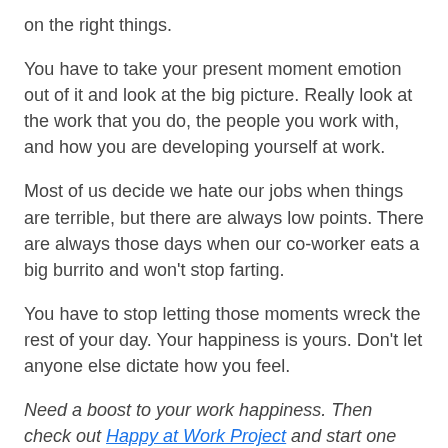on the right things.
You have to take your present moment emotion out of it and look at the big picture. Really look at the work that you do, the people you work with, and how you are developing yourself at work.
Most of us decide we hate our jobs when things are terrible, but there are always low points. There are always those days when our co-worker eats a big burrito and won't stop farting.
You have to stop letting those moments wreck the rest of your day. Your happiness is yours. Don't let anyone else dictate how you feel.
Need a boost to your work happiness. Then check out Happy at Work Project and start one yourself.